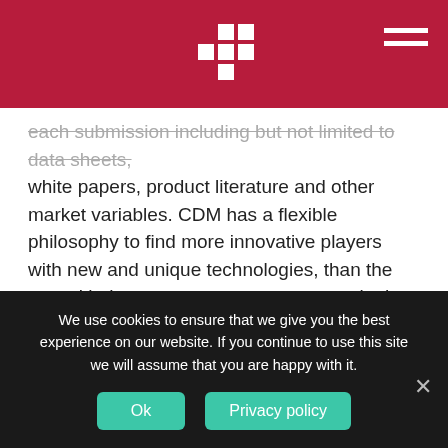[Logo: Cyber Defense Magazine] [Hamburger menu]
each submission including but not limited to data sheets, white papers, product literature and other market variables. CDM has a flexible philosophy to find more innovative players with new and unique technologies, than the one with the most customers or money in the bank. CDM is always asking “What’s Next?” so we are looking for Next Generation InfoSec Solutions.
About Cyber Defense Magazine
With over 5 Million monthly readers and growing, and over
We use cookies to ensure that we give you the best experience on our website. If you continue to use this site we will assume that you are happy with it.
Ok
Privacy policy